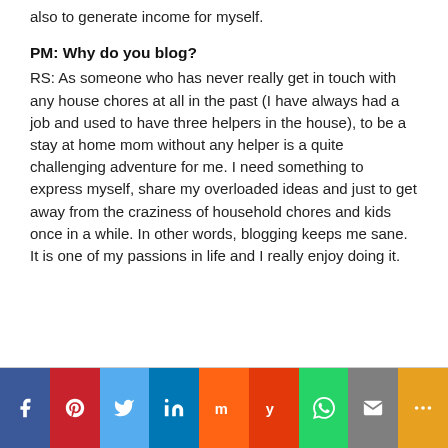also to generate income for myself.
PM: Why do you blog?
RS:  As someone who has never really get in touch with any house chores at all in the past (I have always had a job and used to have three helpers in the house), to be a stay at home mom without any helper is a quite challenging adventure for me. I need something to express myself, share my overloaded ideas and just to get away from the craziness of household chores and kids once in a while. In other words, blogging keeps me sane. It is one of my passions in life and I really enjoy doing it.
[Figure (infographic): Social sharing buttons bar with icons for Facebook, Pinterest, Twitter, LinkedIn, Mix, Yummly, WhatsApp, Email, and More]